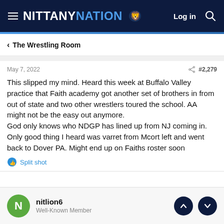NITTANY NATION — Log in
The Wrestling Room
May 7, 2022  #2,279
This slipped my mind. Heard this week at Buffalo Valley practice that Faith academy got another set of brothers in from out of state and two other wrestlers toured the school. AA might not be the easy out anymore.
God only knows who NDGP has lined up from NJ coming in. Only good thing I heard was varret from Mcort left and went back to Dover PA. Might end up on Faiths roster soon
Split shot
nitlion6
Well-Known Member